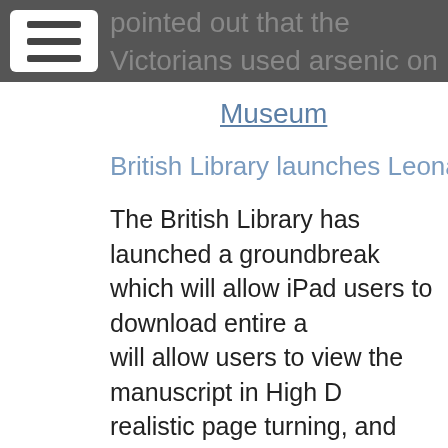pointed out that the Victorians used arsenic on horns so this haul might prove worthless.  NHM
Museum
British Library launches Leonardo da Vinci...
The British Library has launched a groundbreaking app which will allow iPad users to download entire a... will allow users to view the manuscript in High D... realistic page turning, and access additional co... item such as written, video and audio interpreta... Leonardo da Vinci's Codex Arundel (1478-1518... the next two years.  The eBooks have been dev... who developed the original Turning the Pages s... and the British Library have also launched their... Historical Collection App for iPad making over 4... available to subscribers.  For a monthly fee, sub... historical and antiquarian books that range from... accounts by Victorian travellers, and from scien...